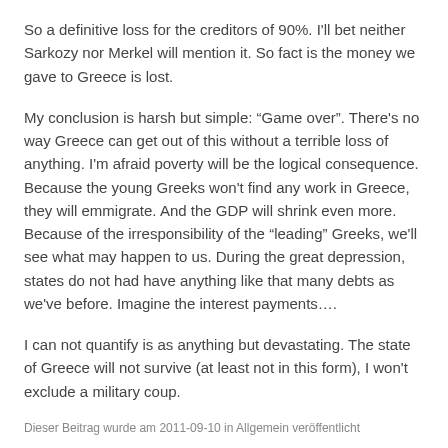So a definitive loss for the creditors of 90%. I'll bet neither Sarkozy nor Merkel will mention it. So fact is the money we gave to Greece is lost.
My conclusion is harsh but simple: “Game over”. There's no way Greece can get out of this without a terrible loss of anything. I'm afraid poverty will be the logical consequence. Because the young Greeks won't find any work in Greece, they will emmigrate. And the GDP will shrink even more. Because of the irresponsibility of the “leading” Greeks, we'll see what may happen to us. During the great depression, states do not had have anything like that many debts as we've before. Imagine the interest payments….
I can not quantify is as anything but devastating. The state of Greece will not survive (at least not in this form), I won't exclude a military coup.
Dieser Beitrag wurde am 2011-09-10 in Allgemein veröffentlicht